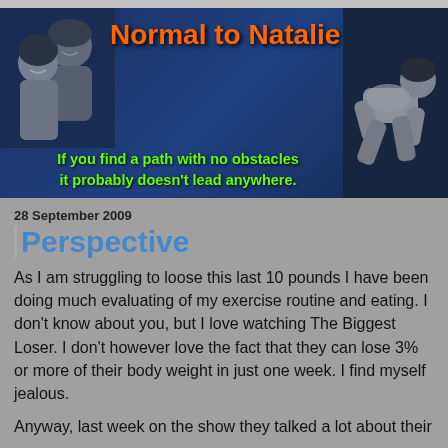[Figure (illustration): Blog header banner with dark blue background. Left side shows a black-and-white photo of two smiling girls. Right side shows a black-and-white photo of a person exercising/crawling. Center-right shows the blog title 'Normal to Natalie' in orange stylized text. Bottom shows a quote in green text: 'If you find a path with no obstacles it probably doesn't lead anywhere.']
28 September 2009
Perspective
As I am struggling to loose this last 10 pounds I have been doing much evaluating of my exercise routine and eating. I don't know about you, but I love watching The Biggest Loser. I don't however love the fact that they can lose 3% or more of their body weight in just one week. I find myself jealous.
Anyway, last week on the show they talked a lot about their